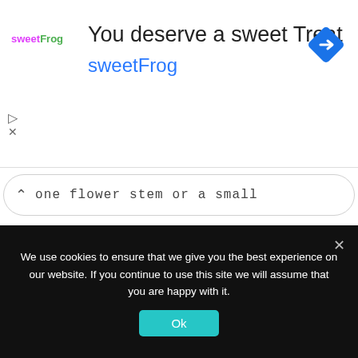[Figure (screenshot): SweetFrog advertisement banner. Logo reads 'sweetFrog' in purple/green. Headline: 'You deserve a sweet Treat'. Subheadline: 'sweetFrog' in blue. Navigation icon (blue diamond with arrow) top right. Play and X icons bottom left.]
one flower stem or a small
READ MORE →
[Figure (photo): Lifestyle photo: a framed landscape picture on a light grey wall, with tall pampas/wheat grass decorative stems in front, on a light surface.]
We use cookies to ensure that we give you the best experience on our website. If you continue to use this site we will assume that you are happy with it.
Ok